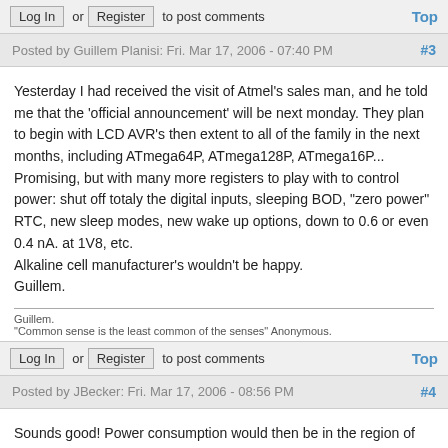Log In or Register to post comments   Top
Posted by Guillem Planisi: Fri. Mar 17, 2006 - 07:40 PM  #3
Yesterday I had received the visit of Atmel's sales man, and he told me that the 'official announcement' will be next monday. They plan to begin with LCD AVR's then extent to all of the family in the next months, including ATmega64P, ATmega128P, ATmega16P...
Promising, but with many more registers to play with to control power: shut off totaly the digital inputs, sleeping BOD, "zero power" RTC, new sleep modes, new wake up options, down to 0.6 or even 0.4 nA. at 1V8, etc.
Alkaline cell manufacturer's wouldn't be happy.
Guillem.
Guillem.
"Common sense is the least common of the senses" Anonymous.
Log In or Register to post comments   Top
Posted by JBecker: Fri. Mar 17, 2006 - 08:56 PM  #4
Sounds good! Power consumption would then be in the region of an MSP430. If only Atmel would improve the ADC to at least higher speed or better 12 bit